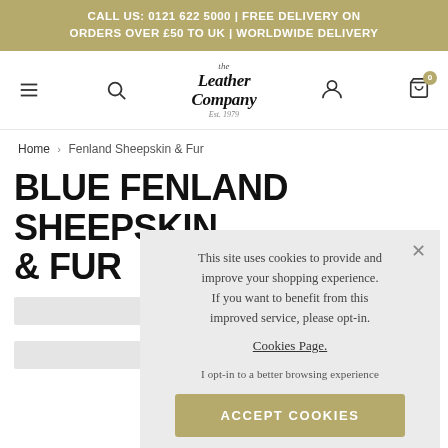CALL US: 0121 622 5000 | FREE DELIVERY ON ORDERS OVER £50 TO UK | WORLDWIDE DELIVERY
[Figure (screenshot): Navigation bar with hamburger menu, search icon, Leather Company logo, user account icon, and shopping cart icon with badge showing 0]
Home › Fenland Sheepskin & Fur
BLUE FENLAND SHEEPSKIN & FUR
[Figure (screenshot): Cookie consent popup overlay with text: This site uses cookies to provide and improve your shopping experience. If you want to benefit from this improved service, please opt-in. Cookies Page. I opt-in to a better browsing experience. ACCEPT COOKIES button.]